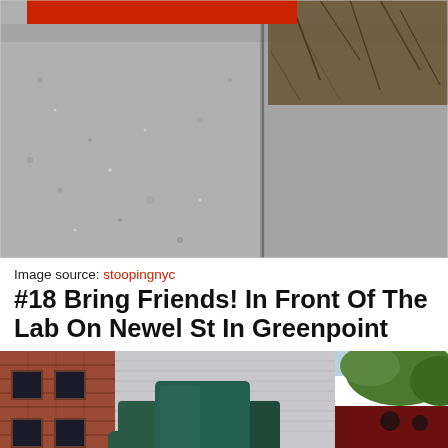[Figure (photo): Close-up photo of a concrete sidewalk with cracks and a joint line running vertically. Dead vines and brown twigs visible in upper right. A red rectangular object (possibly a stoop item) is partially visible at the top.]
Image source: stoopingnyc
#18 Bring Friends! In Front Of The Lab On Newel St In Greenpoint
[Figure (photo): Photo of a large dark green armchair placed on a sidewalk in front of a brick building and a metal-sided building. Red awning visible on the right. Green foliage in upper right corner.]